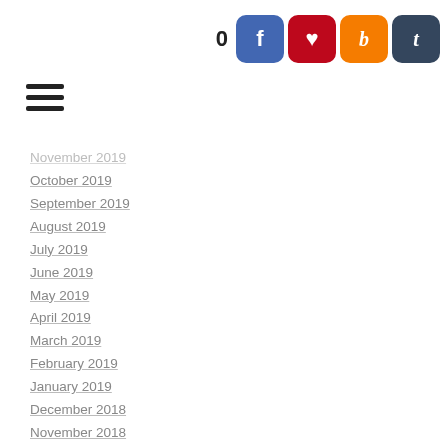0
November 2019
October 2019
September 2019
August 2019
July 2019
June 2019
May 2019
April 2019
March 2019
February 2019
January 2019
December 2018
November 2018
October 2018
September 2018
August 2018
July 2018
June 2018
May 2018